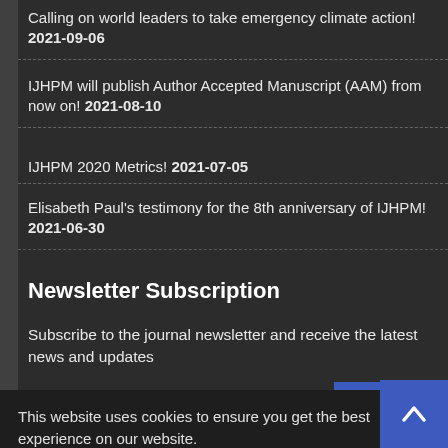Calling on world leaders to take emergency climate action! 2021-09-06
IJHPM will publish Author Accepted Manuscript (AAM) from now on! 2021-08-10
IJHPM 2020 Metrics! 2021-07-05
Elisabeth Paul's testimony for the 8th anniversary of IJHPM! 2021-06-30
Newsletter Subscription
Subscribe to the journal newsletter and receive the latest news and updates
This website uses cookies to ensure you get the best experience on our website.
ejournalplus.